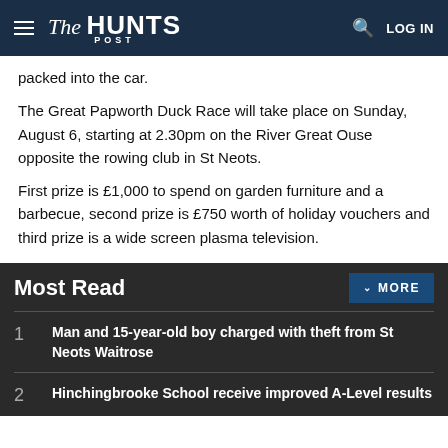The Hunts POST — LOG IN
packed into the car.
The Great Papworth Duck Race will take place on Sunday, August 6, starting at 2.30pm on the River Great Ouse opposite the rowing club in St Neots.
First prize is £1,000 to spend on garden furniture and a barbecue, second prize is £750 worth of holiday vouchers and third prize is a wide screen plasma television.
Most Read
1 Man and 15-year-old boy charged with theft from St Neots Waitrose
2 Hinchingbrooke School receive improved A-Level results